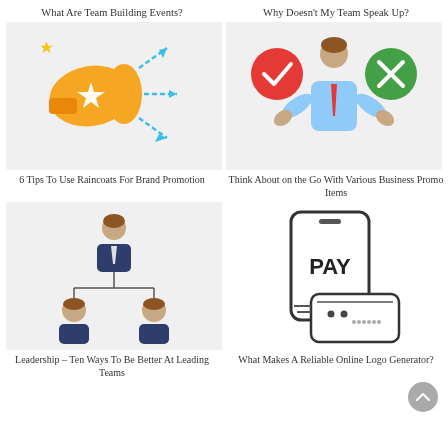What Are Team Building Events?
Why Doesn't My Team Speak Up?
[Figure (illustration): Megaphone with star, dashed arrows pointing outward, and small diamond sparkles on grey background]
[Figure (illustration): Business person with shrug gesture, red circle with checkmark on left, green circle with X on right, grey background]
6 Tips To Use Raincoats For Brand Promotion
Think About on the Go With Various Business Promo Items
[Figure (illustration): Organizational chart with person at top and two people below, connected by lines, grey background]
[Figure (illustration): Smartphone showing PAY text with credit card reader below it, black outline illustration on white background]
Leadership – Ten Ways To Be Better At Leading Teams
What Makes A Reliable Online Logo Generator?